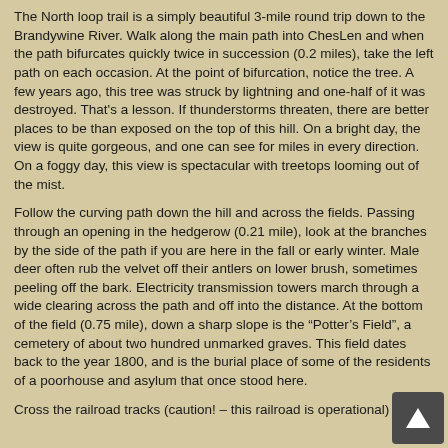The North loop trail is a simply beautiful 3-mile round trip down to the Brandywine River. Walk along the main path into ChesLen and when the path bifurcates quickly twice in succession (0.2 miles), take the left path on each occasion. At the point of bifurcation, notice the tree. A few years ago, this tree was struck by lightning and one-half of it was destroyed. That’s a lesson. If thunderstorms threaten, there are better places to be than exposed on the top of this hill. On a bright day, the view is quite gorgeous, and one can see for miles in every direction. On a foggy day, this view is spectacular with treetops looming out of the mist.
Follow the curving path down the hill and across the fields. Passing through an opening in the hedgerow (0.21 mile), look at the branches by the side of the path if you are here in the fall or early winter. Male deer often rub the velvet off their antlers on lower brush, sometimes peeling off the bark. Electricity transmission towers march through a wide clearing across the path and off into the distance. At the bottom of the field (0.75 mile), down a sharp slope is the “Potter’s Field”, a cemetery of about two hundred unmarked graves. This field dates back to the year 1800, and is the burial place of some of the residents of a poorhouse and asylum that once stood here.
Cross the railroad tracks (caution! – this railroad is operational)